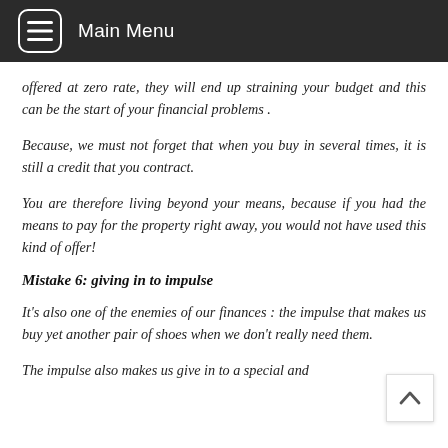Main Menu
offered at zero rate, they will end up straining your budget and this can be the start of your financial problems .
Because, we must not forget that when you buy in several times, it is still a credit that you contract.
You are therefore living beyond your means, because if you had the means to pay for the property right away, you would not have used this kind of offer!
Mistake 6: giving in to impulse
It's also one of the enemies of our finances : the impulse that makes us buy yet another pair of shoes when we don't really need them.
The impulse also makes us give in to a special and